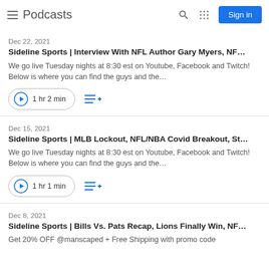Podcasts
Dec 22, 2021
Sideline Sports | Interview With NFL Author Gary Myers, NF…
We go live Tuesday nights at 8:30 est on Youtube, Facebook and Twitch! Below is where you can find the guys and the…
1 hr 2 min
Dec 15, 2021
Sideline Sports | MLB Lockout, NFL/NBA Covid Breakout, St…
We go live Tuesday nights at 8:30 est on Youtube, Facebook and Twitch! Below is where you can find the guys and the…
1 hr 1 min
Dec 8, 2021
Sideline Sports | Bills Vs. Pats Recap, Lions Finally Win, NF…
Get 20% OFF @manscaped + Free Shipping with promo code